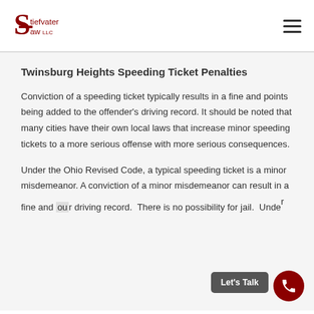Stiefvater Law LLC
Twinsburg Heights Speeding Ticket Penalties
Conviction of a speeding ticket typically results in a fine and points being added to the offender's driving record. It should be noted that many cities have their own local laws that increase minor speeding tickets to a more serious offense with more serious consequences.
Under the Ohio Revised Code, a typical speeding ticket is a minor misdemeanor. A conviction of a minor misdemeanor can result in a fine and [points on your] driving record. There is no possibility for jail. Under